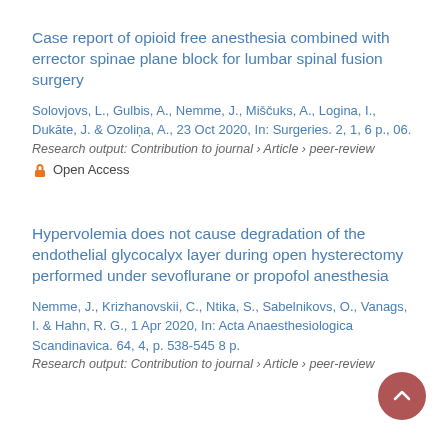Case report of opioid free anesthesia combined with errector spinae plane block for lumbar spinal fusion surgery
Solovjovs, L., Gulbis, A., Nemme, J., Miščuks, A., Logina, I., Dukāte, J. & Ozoliņa, A., 23 Oct 2020, In: Surgeries. 2, 1, 6 p., 06.
Research output: Contribution to journal › Article › peer-review
Open Access
Hypervolemia does not cause degradation of the endothelial glycocalyx layer during open hysterectomy performed under sevoflurane or propofol anesthesia
Nemme, J., Krizhanovskii, C., Ntika, S., Sabelnikovs, O., Vanags, I. & Hahn, R. G., 1 Apr 2020, In: Acta Anaesthesiologica Scandinavica. 64, 4, p. 538-545 8 p.
Research output: Contribution to journal › Article › peer-review